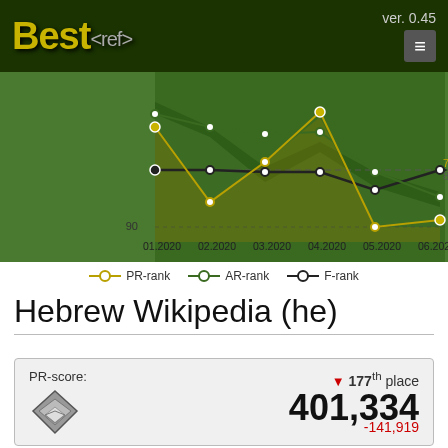Best<ref> ver. 0.45
[Figure (line-chart): Rank chart Jan-Jun 2020]
Hebrew Wikipedia (he)
PR-score: ▼ 177th place 401,334 -141,919
AR-score: 132nd place 208,734